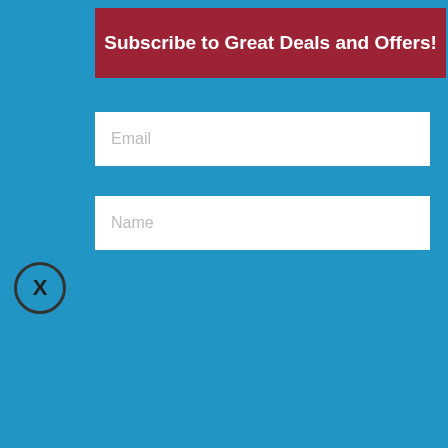Subscribe to Great Deals and Offers!
Email
Name
SUBSCRIBE
website?
It is possible to receive visitors to your site from different parts of the world. In that case, you are stuck as you can't host your site closer to all of the visitors at once. That actually makes things complicated. Because most of the visitors will get slow browsing speed on your website. As they come in randomly from random locations.